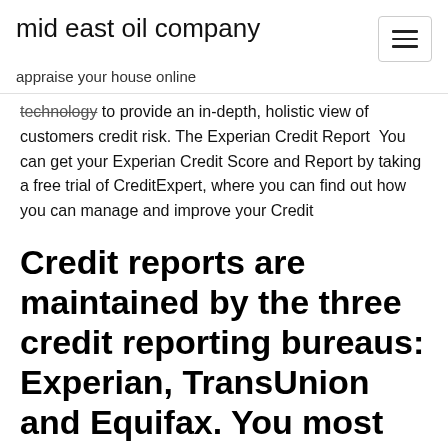mid east oil company
appraise your house online
technology to provide an in-depth, holistic view of customers credit risk. The Experian Credit Report  You can get your Experian Credit Score and Report by taking a free trial of CreditExpert, where you can find out how you can manage and improve your Credit
Credit reports are maintained by the three credit reporting bureaus: Experian, TransUnion and Equifax. You most likely have a report at each bureau, though not every